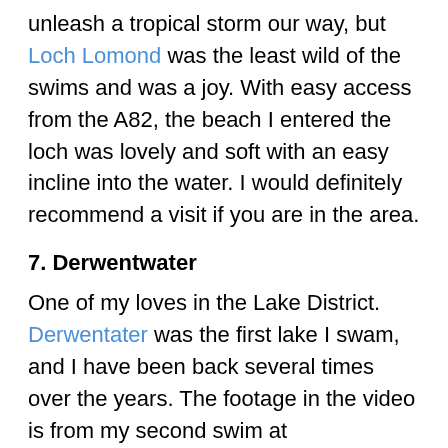unleash a tropical storm our way, but Loch Lomond was the least wild of the swims and was a joy. With easy access from the A82, the beach I entered the loch was lovely and soft with an easy incline into the water. I would definitely recommend a visit if you are in the area.
7. Derwentwater
One of my loves in the Lake District. Derwentater was the first lake I swam, and I have been back several times over the years. The footage in the video is from my second swim at Derwentwater, when at 9am, it was just David and I and a cool sun rising. It's a beautiful lake to visit for a walk or swim and we will probably revisit again in the future.
6. Loch Etive